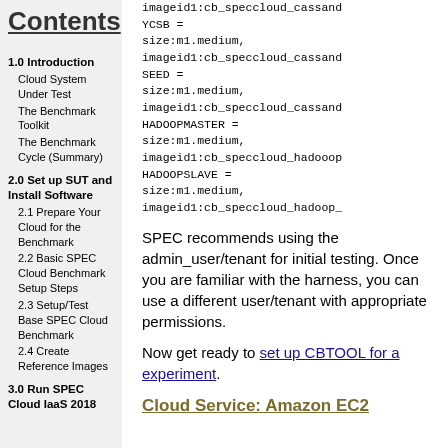Contents
1.0 Introduction
Cloud System Under Test
The Benchmark Toolkit
The Benchmark Cycle (Summary)
2.0 Set up SUT and Install Software
2.1 Prepare Your Cloud for the Benchmark
2.2 Basic SPEC Cloud Benchmark Setup Steps
2.3 Setup/Test Base SPEC Cloud Benchmark
2.4 Create Reference Images
3.0 Run SPEC Cloud IaaS 2018 Benchmark
imageid1:cb_speccloud_cassand
YCSB =
size:m1.medium,
imageid1:cb_speccloud_cassand
SEED =
size:m1.medium,
imageid1:cb_speccloud_cassand
HADOOPMASTER =
size:m1.medium,
imageid1:cb_speccloud_hadooop
HADOOPSLAVE =
size:m1.medium,
imageid1:cb_speccloud_hadoop_
SPEC recommends using the admin_user/tenant for initial testing. Once you are familiar with the harness, you can use a different user/tenant with appropriate permissions.
Now get ready to set up CBTOOL for a experiment.
Cloud Service: Amazon EC2